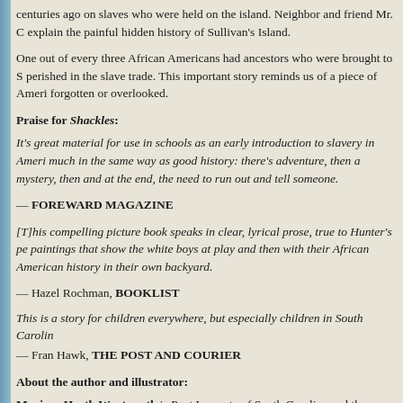centuries ago on slaves who were held on the island. Neighbor and friend Mr. C explain the painful hidden history of Sullivan's Island.
One out of every three African Americans had ancestors who were brought to S perished in the slave trade. This important story reminds us of a piece of Ameri forgotten or overlooked.
Praise for Shackles:
It's great material for use in schools as an early introduction to slavery in Ameri much in the same way as good history: there's adventure, then a mystery, then and at the end, the need to run out and tell someone.
— FOREWARD MAGAZINE
[T]his compelling picture book speaks in clear, lyrical prose, true to Hunter's pe paintings that show the white boys at play and then with their African American history in their own backyard.
— Hazel Rochman, BOOKLIST
This is a story for children everywhere, but especially children in South Carolin
— Fran Hawk, THE POST AND COURIER
About the author and illustrator:
Marjory Heath Wentworth is Poet Laureate of South Carolina and the author Noticing Eden and Despite Gravity. She teaches poetry to cancer patients in "